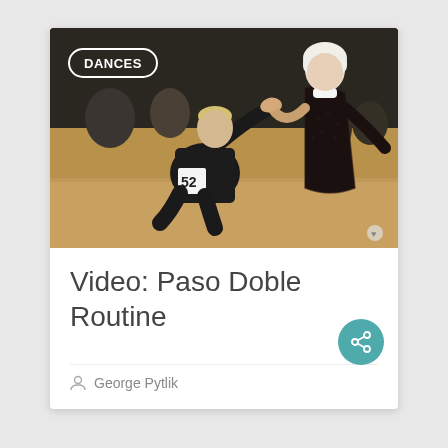[Figure (photo): A ballroom dancing competition photo showing a male dancer in black mesh costume with number 52 badge kneeling on the floor kissing a woman's hand, while a blonde woman in a black lace dress stands above him. A 'DANCES' badge overlay appears in the top-left corner of the image.]
Video: Paso Doble Routine
George Pytlik